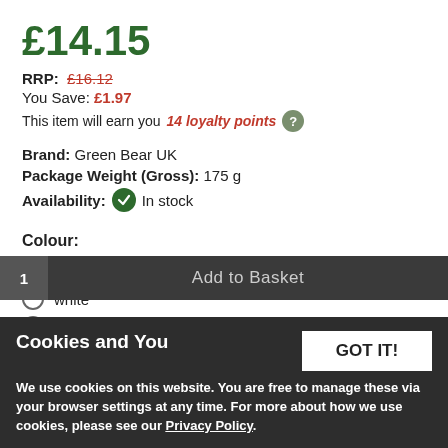£14.15
RRP: £16.12
You Save: £1.97
This item will earn you 14 loyalty points
Brand: Green Bear UK
Package Weight (Gross): 175 g
Availability: In stock
Colour:
green
white
yellow
Cookies and You
We use cookies on this website. You are free to manage these via your browser settings at any time. For more about how we use cookies, please see our Privacy Policy.